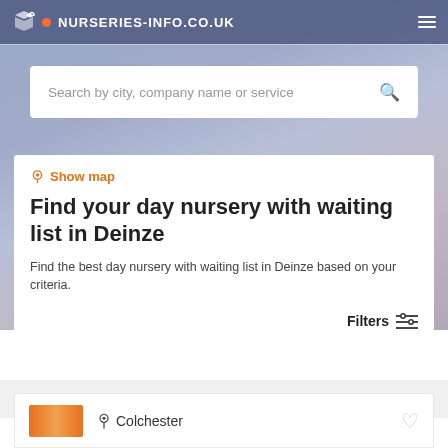NURSERIES-INFO.CO.UK
[Figure (screenshot): Search bar with placeholder text: Search by city, company name or service]
Show map
Find your day nursery with waiting list in Deinze
Find the best day nursery with waiting list in Deinze based on your criteria.
Filters
Colchester